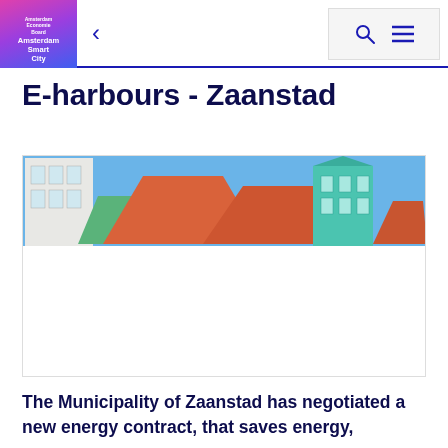Amsterdam Smart City
E-harbours - Zaanstad
[Figure (photo): Photo of colorful Dutch-style buildings with orange and teal rooftops against a blue sky, partially shown at top of image block with white space below.]
The Municipality of Zaanstad has negotiated a new energy contract, that saves energy,